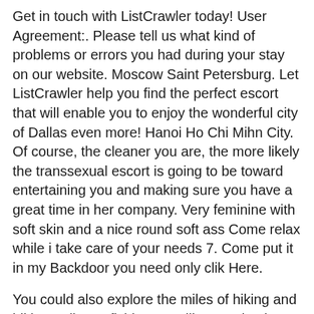Get in touch with ListCrawler today! User Agreement:. Please tell us what kind of problems or errors you had during your stay on our website. Moscow Saint Petersburg. Let ListCrawler help you find the perfect escort that will enable you to enjoy the wonderful city of Dallas even more! Hanoi Ho Chi Mihn City. Of course, the cleaner you are, the more likely the transsexual escort is going to be toward entertaining you and making sure you have a great time in her company. Very feminine with soft skin and a nice round soft ass Come relax while i take care of your needs 7. Come put it in my Backdoor you need only clik Here.
You could also explore the miles of hiking and biking trails, go fishing or sailing, or check out the abundant bird and wildlife. Click to Expand. Soy versatile y mido 6 pulgadas. Available now. Muscat Seeb. Click to Expand. Washington DC. Abu Dhabi Dubai Sharjah. Let's get straight to the point Lexington Louisville. AvaRey Philadelphia, PA 5 hours ago.